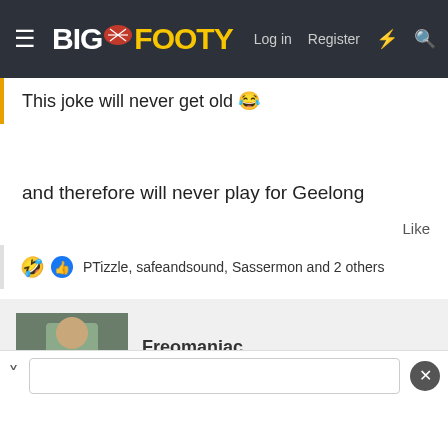BigFooty — Log in  Register
This joke will never get old 😂
and therefore will never play for Geelong
Like
🤣 👍 PTizzle, safeandsound, Sassermon and 2 others
Freomaniac
Brownlow Medallist